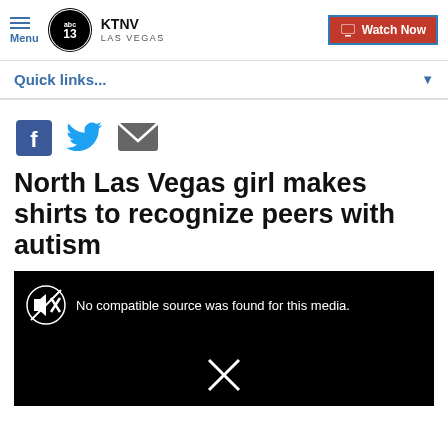Menu | KTNV LAS VEGAS | Watch Now
Quick links...
[Figure (screenshot): Social share icons: Facebook (blue), Twitter (blue bird), Email (grey envelope)]
North Las Vegas girl makes shirts to recognize peers with autism
[Figure (screenshot): Video player area with black background showing: muted icon and text 'No compatible source was found for this media.' and an X symbol at the bottom.]